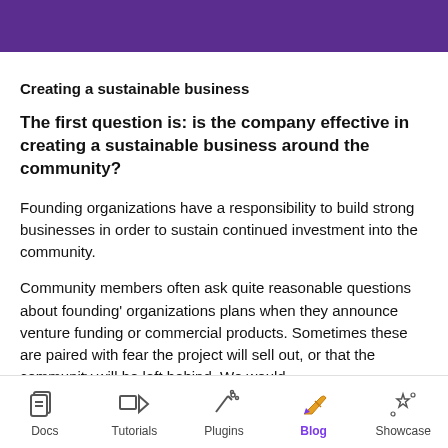Creating a sustainable business
The first question is: is the company effective in creating a sustainable business around the community?
Founding organizations have a responsibility to build strong businesses in order to sustain continued investment into the community.
Community members often ask quite reasonable questions about founding' organizations plans when they announce venture funding or commercial products. Sometimes these are paired with fear the project will sell out, or that the community will be left behind. We would
Docs   Tutorials   Plugins   Blog   Showcase